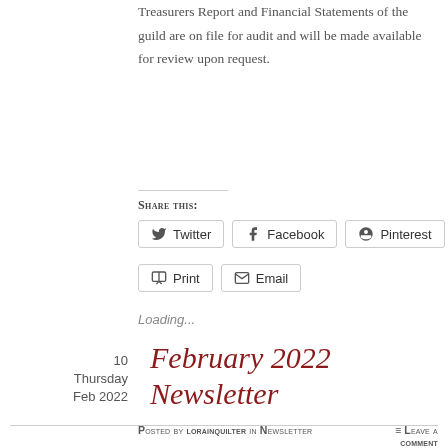Treasurers Report and Financial Statements of the guild are on file for audit and will be made available for review upon request.
Share this:
[Figure (other): Social sharing buttons: Twitter, Facebook, Pinterest, Print, Email]
Loading...
February 2022 Newsletter
Posted by lorainquilter in Newsletter  ≡ Leave a comment